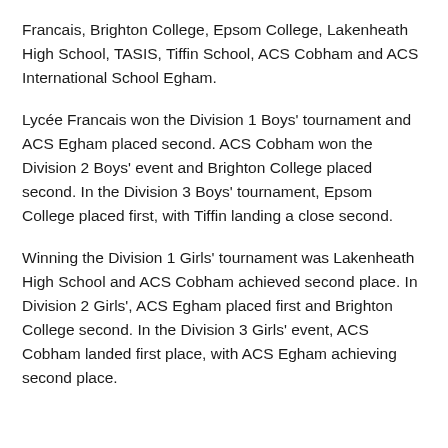Francais, Brighton College, Epsom College, Lakenheath High School, TASIS, Tiffin School, ACS Cobham and ACS International School Egham.
Lycée Francais won the Division 1 Boys' tournament and ACS Egham placed second. ACS Cobham won the Division 2 Boys' event and Brighton College placed second. In the Division 3 Boys' tournament, Epsom College placed first, with Tiffin landing a close second.
Winning the Division 1 Girls' tournament was Lakenheath High School and ACS Cobham achieved second place. In Division 2 Girls', ACS Egham placed first and Brighton College second. In the Division 3 Girls' event, ACS Cobham landed first place, with ACS Egham achieving second place.